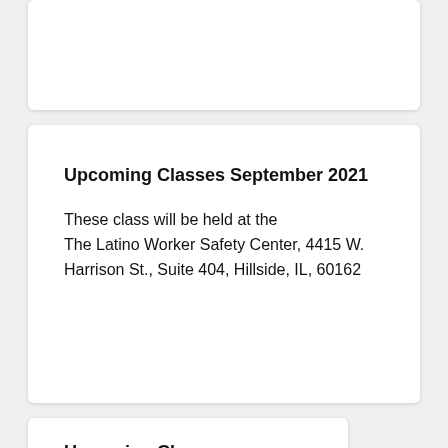Upcoming Classes September 2021
These class will be held at the The Latino Worker Safety Center, 4415 W. Harrison St., Suite 404, Hillside, IL, 60162
Upcoming Classes